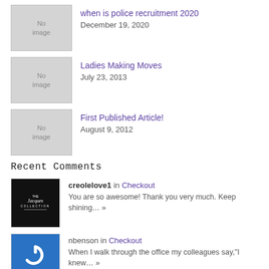when is police recruitment 2020 — December 19, 2020
Ladies Making Moves — July 23, 2013
First Published Article! — August 9, 2012
Recent Comments
creolelove1 in Checkout — You are so awesome! Thank you very much. Keep shining… »
nbenson in Checkout — When I walk through the office my colleagues say,"I knew… »
creolelove1 in Thank You! Please allow 10-15 business days to